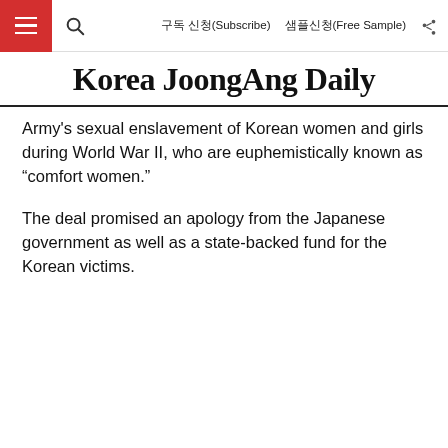구독 신청(Subscribe)   샘플신청(Free Sample)
Korea JoongAng Daily
Army's sexual enslavement of Korean women and girls during World War II, who are euphemistically known as “comfort women.”
The deal promised an apology from the Japanese government as well as a state-backed fund for the Korean victims.